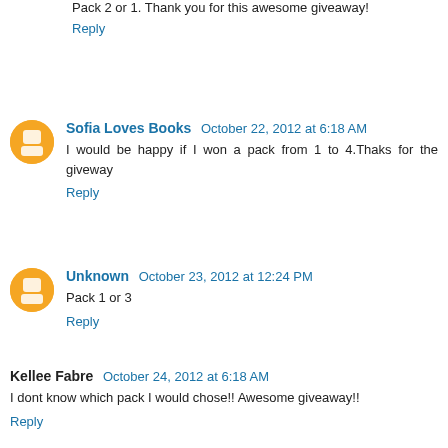Pack 2 or 1. Thank you for this awesome giveaway!
Reply
Sofia Loves Books  October 22, 2012 at 6:18 AM
I would be happy if I won a pack from 1 to 4.Thaks for the giveway
Reply
Unknown  October 23, 2012 at 12:24 PM
Pack 1 or 3
Reply
Kellee Fabre  October 24, 2012 at 6:18 AM
I dont know which pack I would chose!! Awesome giveaway!!
Reply